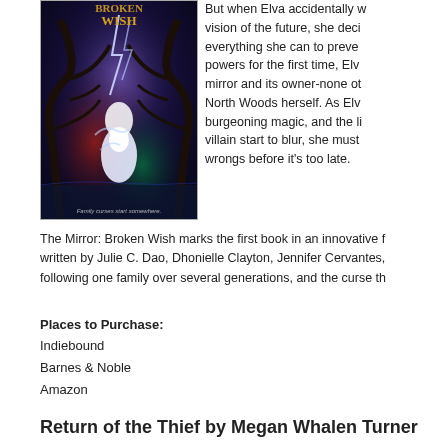[Figure (illustration): Book cover of 'Broken Wish' showing a dark fantasy scene with a figure in a white cloak among twisted trees, lightning, and magical elements. Text at bottom reads 'Family curses start somewhere.']
But when Elva accidentally witnesses a vision of the future, she decides to do everything she can to prevent it. Using her powers for the first time, Elva discovers a mirror and its owner-none other than the North Woods herself. As Elva's past, her burgeoning magic, and the line between villain start to blur, she must right old wrongs before it's too late.
The Mirror: Broken Wish marks the first book in an innovative f... written by Julie C. Dao, Dhonielle Clayton, Jennifer Cervantes, following one family over several generations, and the curse th...
Places to Purchase:
Indiebound
Barnes & Noble
Amazon
Return of the Thief by Megan Whalen Turner